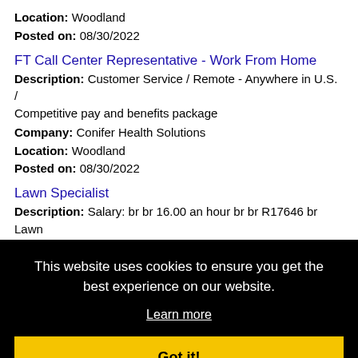Location: Woodland
Posted on: 08/30/2022
FT Call Center Representative - Work From Home
Description: Customer Service / Remote - Anywhere in U.S. / Competitive pay and benefits package
Company: Conifer Health Solutions
Location: Woodland
Posted on: 08/30/2022
Lawn Specialist
Description: Salary: br br 16.00 an hour br br R17646 br Lawn Specialist br br 1700 N Market Sacramento California 95834 br br
This website uses cookies to ensure you get the best experience on our website.
Learn more
Got it!
onsible,
ing
st
experience, including (more...)